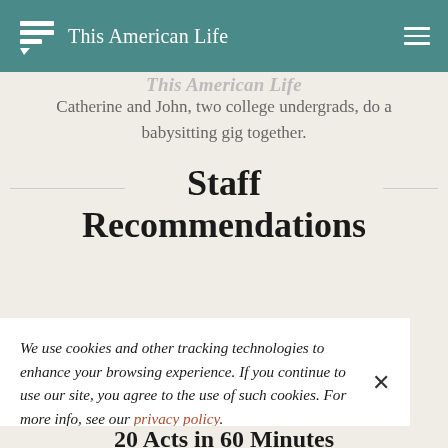This American Life
This American Life (partial cut-off title above)
Catherine and John, two college undergrads, do a babysitting gig together.
Staff Recommendations
We use cookies and other tracking technologies to enhance your browsing experience. If you continue to use our site, you agree to the use of such cookies. For more info, see our privacy policy.
20 Acts in 60 Minutes